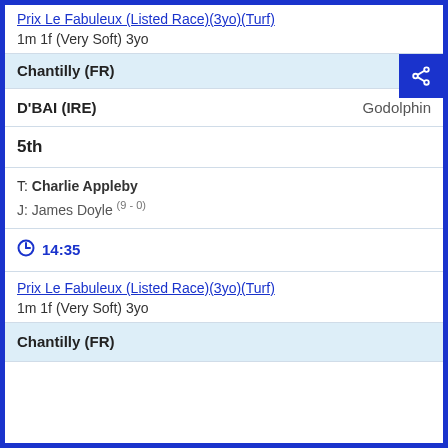Prix Le Fabuleux (Listed Race)(3yo)(Turf)
1m 1f (Very Soft) 3yo
Chantilly (FR)
D'BAI (IRE)   Godolphin
5th
T: Charlie Appleby
J: James Doyle (9-0)
14:35
Prix Le Fabuleux (Listed Race)(3yo)(Turf)
1m 1f (Very Soft) 3yo
Chantilly (FR)